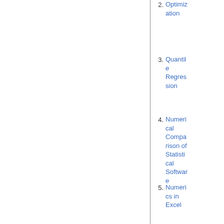2. Optimization
3. Quantile Regression
4. Numerical Comparison of Statistical Software
5. Numerics in Excel
6. Statistics/Num